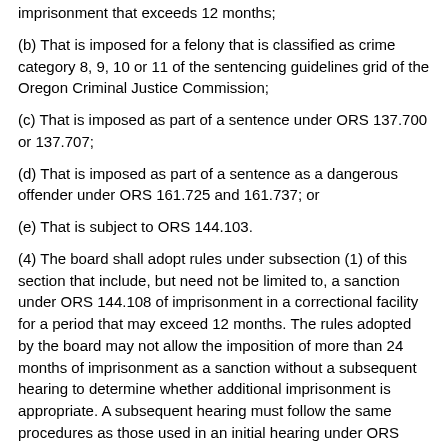imprisonment that exceeds 12 months;
(b) That is imposed for a felony that is classified as crime category 8, 9, 10 or 11 of the sentencing guidelines grid of the Oregon Criminal Justice Commission;
(c) That is imposed as part of a sentence under ORS 137.700 or 137.707;
(d) That is imposed as part of a sentence as a dangerous offender under ORS 161.725 and 161.737; or
(e) That is subject to ORS 144.103.
(4) The board shall adopt rules under subsection (1) of this section that include, but need not be limited to, a sanction under ORS 144.108 of imprisonment in a correctional facility for a period that may exceed 12 months. The rules adopted by the board may not allow the imposition of more than 24 months of imprisonment as a sanction without a subsequent hearing to determine whether additional imprisonment is appropriate. A subsequent hearing must follow the same procedures as those used in an initial hearing under ORS 144.108.
(5) The rules adopted under subsection (1) of this section must provide that the total time served in Department of Corrections